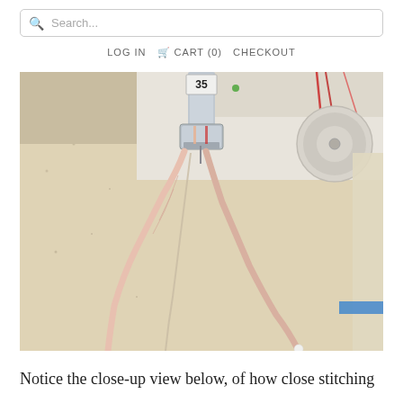Search...
LOG IN   CART (0)   CHECKOUT
[Figure (photo): Close-up photograph of a sewing machine presser foot (labeled 35) stitching over fabric, with two cords or elastic being guided under the foot on a cream/off-white fabric surface. Red thread visible. Sewing machine body in cream color in background.]
Notice the close-up view below, of how close stitching